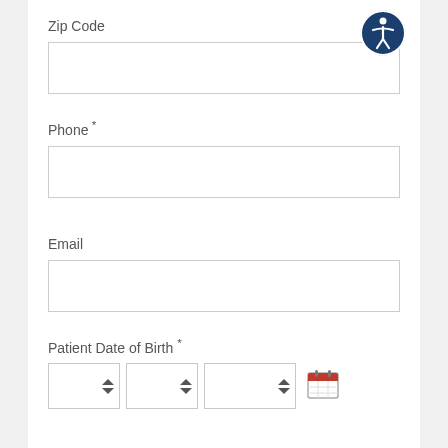Zip Code
Phone *
Email
Patient Date of Birth *